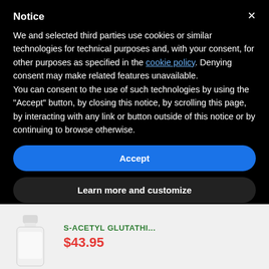Notice
We and selected third parties use cookies or similar technologies for technical purposes and, with your consent, for other purposes as specified in the cookie policy. Denying consent may make related features unavailable.
You can consent to the use of such technologies by using the “Accept” button, by closing this notice, by scrolling this page, by interacting with any link or button outside of this notice or by continuing to browse otherwise.
Accept
Learn more and customize
S-ACETYL GLUTATHI...
$43.95